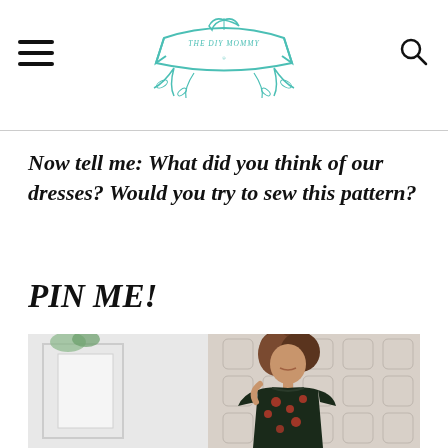THE DIY MOMMY
Now tell me: What did you think of our dresses? Would you try to sew this pattern?
PIN ME!
[Figure (photo): Woman wearing a dark floral dress standing in front of a white decorative screen/room divider]